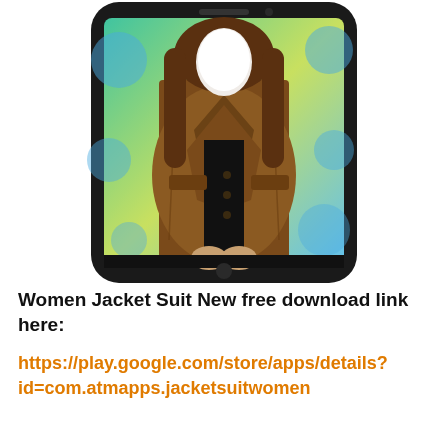[Figure (screenshot): A smartphone screen showing a women's jacket suit photo-editing app. The phone has a black body with a rounded rectangular screen. Inside the screen is a woman wearing a brown leather jacket over a black top, with her face replaced by a blank white oval (face cutout feature). The background on screen is a teal/green-to-yellow gradient with blue bokeh circles. The phone is displayed on a white background.]
Women Jacket Suit New free download link here:
https://play.google.com/store/apps/details?id=com.atmapps.jacketsuitwomen